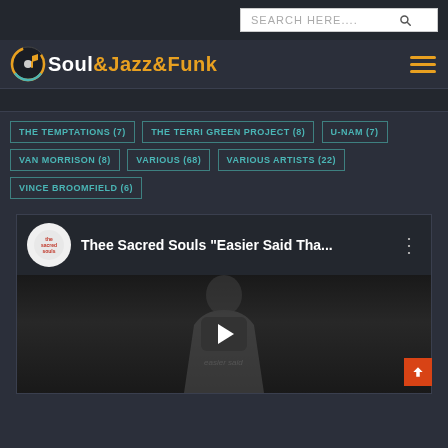[Figure (screenshot): Search box with magnifying glass icon on dark background]
[Figure (logo): Soul&Jazz&Funk website logo with music note icon and hamburger menu]
THE TEMPTATIONS (7)
THE TERRI GREEN PROJECT (8)
U-NAM (7)
VAN MORRISON (8)
VARIOUS (68)
VARIOUS ARTISTS (22)
VINCE BROOMFIELD (6)
[Figure (screenshot): YouTube video embed: Thee Sacred Souls 'Easier Said Tha...' with dark preview and play button]